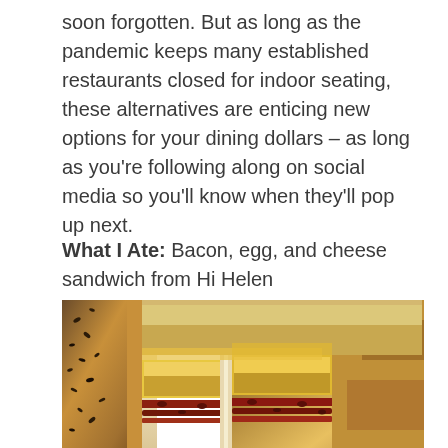soon forgotten. But as long as the pandemic keeps many established restaurants closed for indoor seating, these alternatives are enticing new options for your dining dollars – as long as you're following along on social media so you'll know when they'll pop up next.
What I Ate: Bacon, egg, and cheese sandwich from Hi Helen
[Figure (photo): Close-up photo of a bacon, egg, and cheese sandwich cross-section, showing a seeded bagel bun with scrambled eggs, melted cheese, and crispy bacon strips visible inside.]